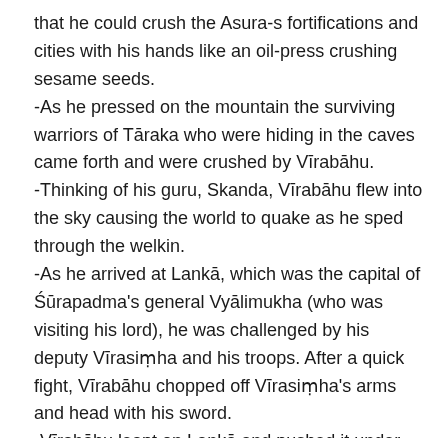that he could crush the Asura-s fortifications and cities with his hands like an oil-press crushing sesame seeds. -As he pressed on the mountain the surviving warriors of Tāraka who were hiding in the caves came forth and were crushed by Vīrabāhu. -Thinking of his guru, Skanda, Vīrabāhu flew into the sky causing the world to quake as he sped through the welkin. -As he arrived at Lankā, which was the capital of Śūrapadma's general Vyālimukha (who was visiting his lord), he was challenged by his deputy Vīrasiṃha and his troops. After a quick fight, Vīrabāhu chopped off Vīrasiṃha's arms and head with his sword. -Vīrabāhu leapt on Lankā and pushed it under the ocean. -Vīrabāhu was then attacked by Vyālimukha's son Ativīra and his troops who emerged out of the water. Vīrabāhu cut down the daitya troops and took on Ativīra who fought with